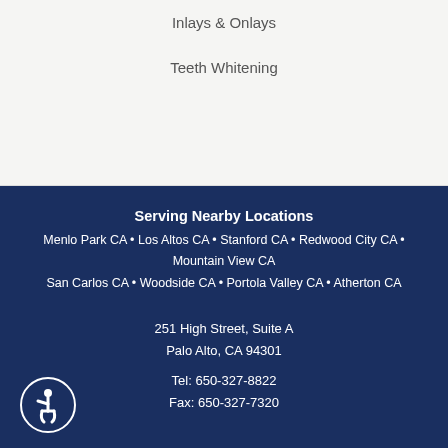Inlays & Onlays
Teeth Whitening
Serving Nearby Locations
Menlo Park CA • Los Altos CA • Stanford CA • Redwood City CA • Mountain View CA
San Carlos CA • Woodside CA • Portola Valley CA • Atherton CA
251 High Street, Suite A
Palo Alto, CA 94301
Tel: 650-327-8822
Fax: 650-327-7320